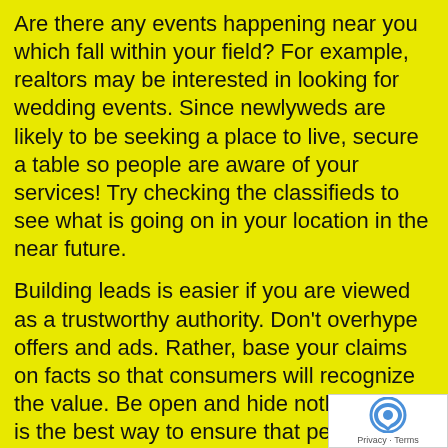Are there any events happening near you which fall within your field? For example, realtors may be interested in looking for wedding events. Since newlyweds are likely to be seeking a place to live, secure a table so people are aware of your services! Try checking the classifieds to see what is going on in your location in the near future.
Building leads is easier if you are viewed as a trustworthy authority. Don’t overhype offers and ads. Rather, base your claims on facts so that consumers will recognize the value. Be open and hide nothing, this is the best way to ensure that people can trust you.
If possible, think about making presentations to local business owners. If you are a landscaper, you could share your knowledge about tree health. Trainers could tell others about how to stay fit while they work all the time. If there is a way that local business people could gain from your business, then get out
[Figure (other): reCAPTCHA badge with Privacy and Terms links in bottom right corner]